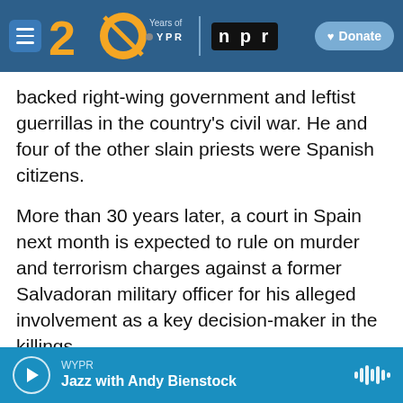WYPR 20 Years of WYPR | npr | Donate
backed right-wing government and leftist guerrillas in the country's civil war. He and four of the other slain priests were Spanish citizens.
More than 30 years later, a court in Spain next month is expected to rule on murder and terrorism charges against a former Salvadoran military officer for his alleged involvement as a key decision-maker in the killings.
Prosecutors have asked for 150 years of prison for the main defendant, Inocente Orlando Montano, El Salvador's former public security vice minister, for
WYPR — Jazz with Andy Bienstock